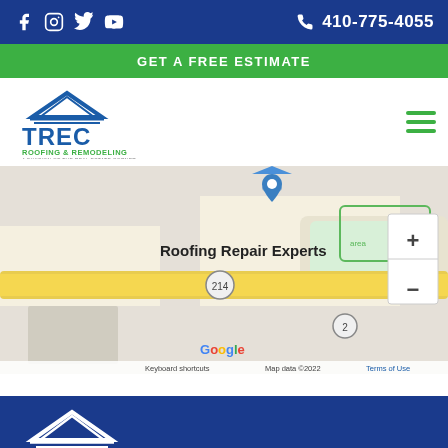Social icons (Facebook, Instagram, Twitter, YouTube) | Phone icon | 410-775-4055
GET A FREE ESTIMATE
[Figure (logo): TREC Roofing & Remodeling logo with house/roof icon in blue and green]
[Figure (map): Google Maps screenshot showing location of Roofing Repair Experts near route 214 and route 2, with map data 2022 and zoom controls]
[Figure (logo): TREC white logo on dark blue background, large text TREC with roof icon above]